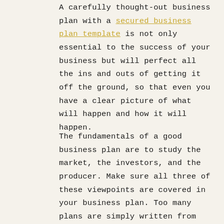A carefully thought-out business plan with a secured business plan template is not only essential to the success of your business but will perfect all the ins and outs of getting it off the ground, so that even you have a clear picture of what will happen and how it will happen.
The fundamentals of a good business plan are to study the market, the investors, and the producer. Make sure all three of these viewpoints are covered in your business plan. Too many plans are simply written from the perspective of the producer: the entrepreneur or inventor, which is probably you.